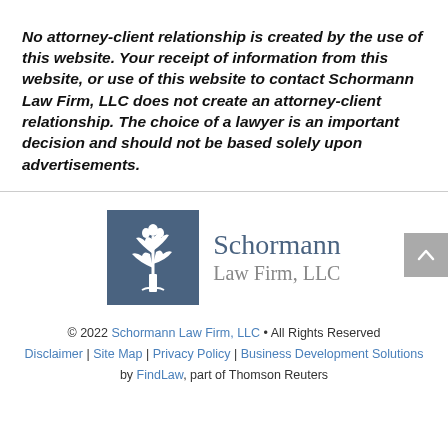No attorney-client relationship is created by the use of this website. Your receipt of information from this website, or use of this website to contact Schormann Law Firm, LLC does not create an attorney-client relationship. The choice of a lawyer is an important decision and should not be based solely upon advertisements.
[Figure (logo): Schormann Law Firm, LLC logo — grey/blue square with white tree illustration and firm name to the right]
© 2022 Schormann Law Firm, LLC • All Rights Reserved
Disclaimer | Site Map | Privacy Policy | Business Development Solutions by FindLaw, part of Thomson Reuters